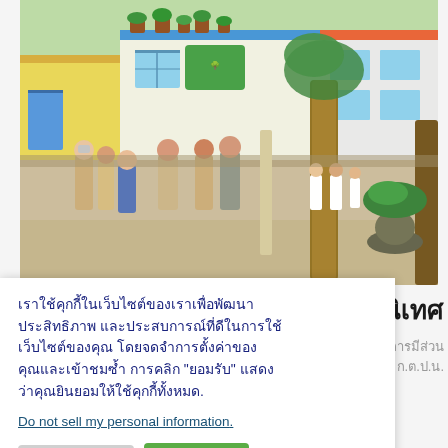[Figure (photo): Outdoor photo of a colorful Thai school building with people in uniform (officials/teachers) wearing masks, standing/walking in a covered corridor area. Students in uniforms visible in background. Large trees, potted plants, and colorful painted walls visible.]
เราใช้คุกกี้ในเว็บไซต์ของเราเพื่อพัฒนาประสิทธิภาพ และประสบการณ์ที่ดีในการใช้เว็บไซต์ของคุณ โดยจดจำการตั้งค่าของคุณและเข้าชมซ้ำ การคลิก "ยอมรับ" แสดงว่าคุณยินยอมให้ใช้คุกกี้ทั้งหมด.
Do not sell my personal information.
ตั้งค่า Cookie
ยอมรับ
.ป.น.นิเทศ
ค.2   การมีส่วน
ะชุม ก.ต.ป.น.